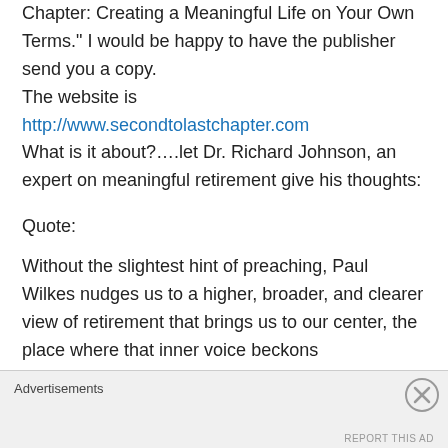Chapter: Creating a Meaningful Life on Your Own Terms.” I would be happy to have the publisher send you a copy. The website is http://www.secondtolastchapter.com What is it about?….let Dr. Richard Johnson, an expert on meaningful retirement give his thoughts:
Quote:
Without the slightest hint of preaching, Paul Wilkes nudges us to a higher, broader, and clearer view of retirement that brings us to our center, the place where that inner voice beckons...
Advertisements